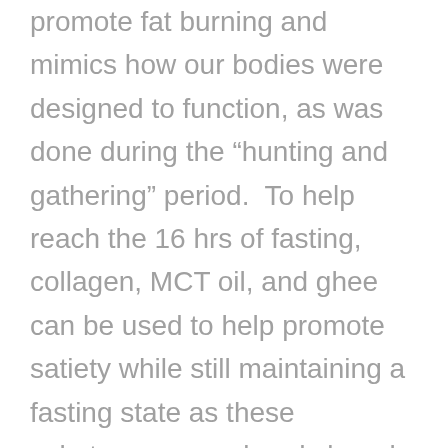promote fat burning and mimics how our bodies were designed to function, as was done during the “hunting and gathering” period.  To help reach the 16 hrs of fasting, collagen, MCT oil, and ghee can be used to help promote satiety while still maintaining a fasting state as these substances are already largely broken down or “digested” and be easily absorbed by our bodies.
3. Darby Brender with Fusion Fitness discussed that she hopes for what she terms “body neutrality” to